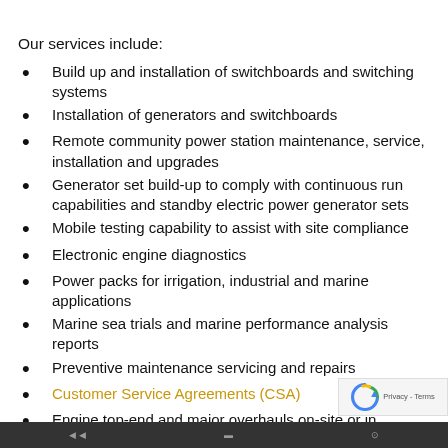Our services include:
Build up and installation of switchboards and switching systems
Installation of generators and switchboards
Remote community power station maintenance, service, installation and upgrades
Generator set build-up to comply with continuous run capabilities and standby electric power generator sets
Mobile testing capability to assist with site compliance
Electronic engine diagnostics
Power packs for irrigation, industrial and marine applications
Marine sea trials and marine performance analysis reports
Preventive maintenance servicing and repairs
Customer Service Agreements (CSA)
Engine top-end and major overhauls on-site or in